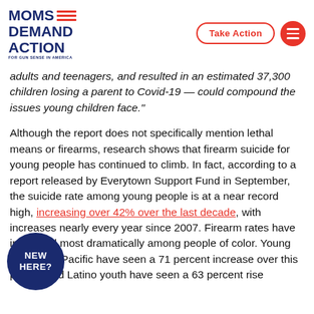Moms Demand Action FOR GUN SENSE IN AMERICA | Take Action
adults and teenagers, and resulted in an estimated 37,300 children losing a parent to Covid-19 — could compound the issues young children face."
Although the report does not specifically mention lethal means or firearms, research shows that firearm suicide for young people has continued to climb. In fact, according to a report released by Everytown Support Fund in September, the suicide rate among young people is at a near record high, increasing over 42% over the last decade, with increases nearly every year since 2007. Firearm rates have increased most dramatically among people of color. Young Asian and Pacific [Islanders] have seen a 71 percent increase over this period, and Latino youth have seen a 63 percent rise